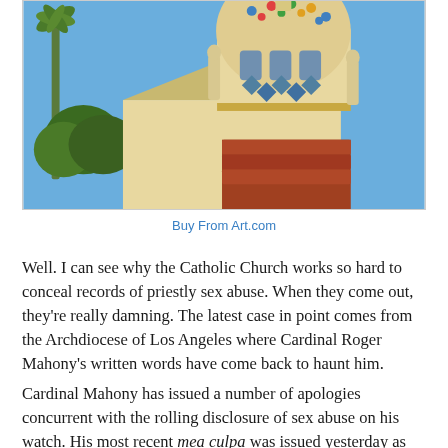[Figure (photo): Photograph of an ornate Spanish colonial revival dome of a church building with decorative tilework, surrounded by palm trees and blue sky]
Buy From Art.com
Well. I can see why the Catholic Church works so hard to conceal records of priestly sex abuse. When they come out, they're really damning. The latest case in point comes from the Archdiocese of Los Angeles where Cardinal Roger Mahony's written words have come back to haunt him.
Cardinal Mahony has issued a number of apologies concurrent with the rolling disclosure of sex abuse on his watch. His most recent mea culpa was issued yesterday as